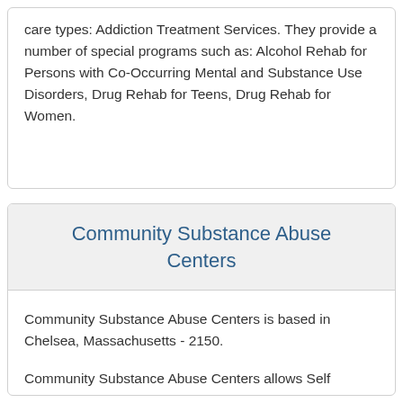care types: Addiction Treatment Services. They provide a number of special programs such as: Alcohol Rehab for Persons with Co-Occurring Mental and Substance Use Disorders, Drug Rehab for Teens, Drug Rehab for Women.
Community Substance Abuse Centers
Community Substance Abuse Centers is based in Chelsea, Massachusetts - 2150.
Community Substance Abuse Centers allows Self Payment or Cash Payment, Medicaid